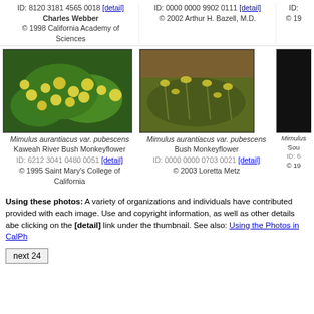ID: 8120 3181 4565 0018 [detail]
Charles Webber
© 1998 California Academy of Sciences
ID: 0000 0000 9902 0111 [detail]
© 2002 Arthur H. Bazell, M.D.
ID: (partial)
[Figure (photo): Mimulus aurantiacus var. pubescens - yellow flowering bush, Kaweah River Bush Monkeyflower]
[Figure (photo): Mimulus aurantiacus var. pubescens - yellow flowering plant, Bush Monkeyflower]
[Figure (photo): Mimulus (partial, dark image)]
Mimulus aurantiacus var. pubescens Kaweah River Bush Monkeyflower ID: 6212 3041 0480 0051 [detail] © 1995 Saint Mary's College of California
Mimulus aurantiacus var. pubescens Bush Monkeyflower ID: 0000 0000 0703 0021 [detail] © 2003 Loretta Metz
Mimulus
Sou...
ID: 6...
© 19...
Using these photos: A variety of organizations and individuals have contributed provided with each image. Use and copyright information, as well as other details abe clicking on the [detail] link under the thumbnail. See also: Using the Photos in CalPh
next 24